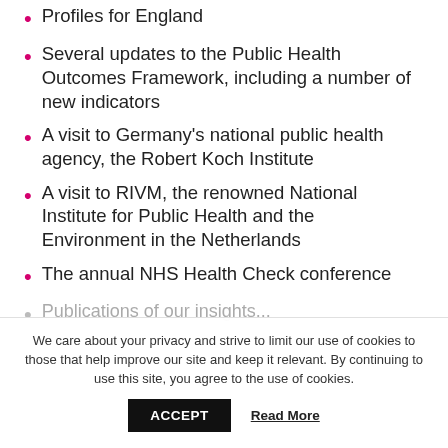Profiles for England
Several updates to the Public Health Outcomes Framework, including a number of new indicators
A visit to Germany's national public health agency, the Robert Koch Institute
A visit to RIVM, the renowned National Institute for Public Health and the Environment in the Netherlands
The annual NHS Health Check conference
Publications of our insights...
We care about your privacy and strive to limit our use of cookies to those that help improve our site and keep it relevant. By continuing to use this site, you agree to the use of cookies.